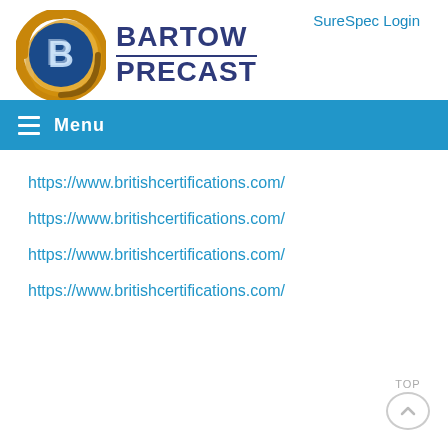[Figure (logo): Bartow Precast company logo: golden circular emblem with a stylized blue letter B, and bold navy text reading BARTOW PRECAST to the right]
SureSpec Login
Menu
https://www.britishcertifications.com/
https://www.britishcertifications.com/
https://www.britishcertifications.com/
https://www.britishcertifications.com/